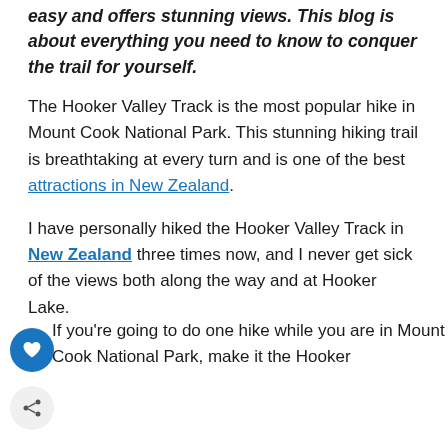easy and offers stunning views. This blog is about everything you need to know to conquer the trail for yourself.
The Hooker Valley Track is the most popular hike in Mount Cook National Park. This stunning hiking trail is breathtaking at every turn and is one of the best attractions in New Zealand.
I have personally hiked the Hooker Valley Track in New Zealand three times now, and I never get sick of the views both along the way and at Hooker Lake.
If you're going to do one hike while you are in Mount Cook National Park, make it the Hooker